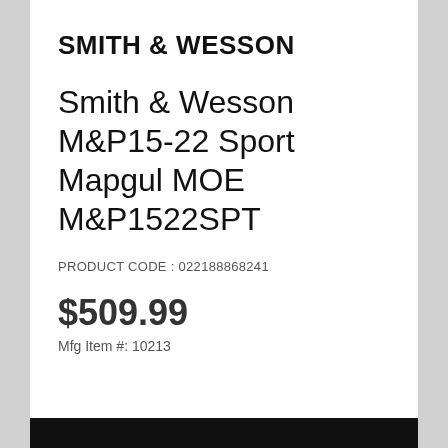SMITH & WESSON
Smith & Wesson M&P15-22 Sport Mapgul MOE M&P1522SPT
PRODUCT CODE : 022188868241
$509.99
Mfg Item #: 10213
[Figure (other): Black bar at bottom of page]